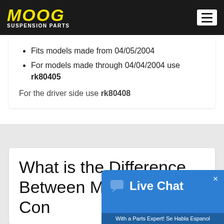MOOG SUSPENSION PARTS
Fits models made from 04/05/2004
For models made through 04/04/2004 use rk80405
For the driver side use rk80408
What is the Difference Between Moog and CK Con...
[Figure (screenshot): Live Chat widget overlay with text 'Live Chat' and subtitle 'With a Parts Expert! Se Habla Espanol']